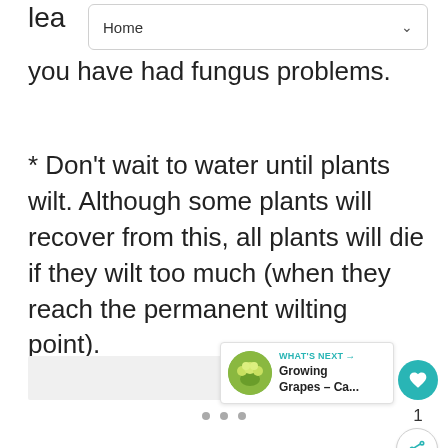Home
lea
you have had fungus problems.
* Don't wait to water until plants wilt. Although some plants will recover from this, all plants will die if they wilt too much (when they reach the permanent wilting point).
[Figure (screenshot): Gray content placeholder area with a teal heart/like button showing count of 1, a share button, and a 'What's Next' panel showing 'Growing Grapes - Ca...' with a thumbnail of yellow-green flowers. Three pagination dots at bottom.]